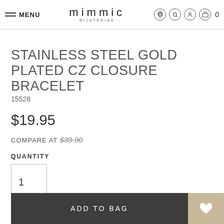MENU | mimmic BIJUTERIAS | icons: location, search, account, cart (0)
STAINLESS STEEL GOLD PLATED CZ CLOSURE BRACELET
15528
$19.95
COMPARE AT $39.90
QUANTITY
1
ADD TO BAG